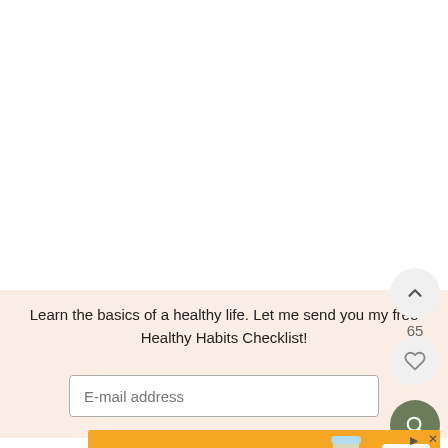Learn the basics of a healthy life. Let me send you my free Healthy Habits Checklist!
E-mail address
[Figure (screenshot): Upvote/chevron-up button circle (light grey), vote count 65, heart/like button circle (light grey), search button circle (dark green) — social interaction UI buttons on right side]
[Figure (infographic): Hefty brand advertisement banner: orange background, text 'A PARTY in EVERY PACK', Hefty cup product image, Hefty logo in white box, SHOP NOW button in blue]